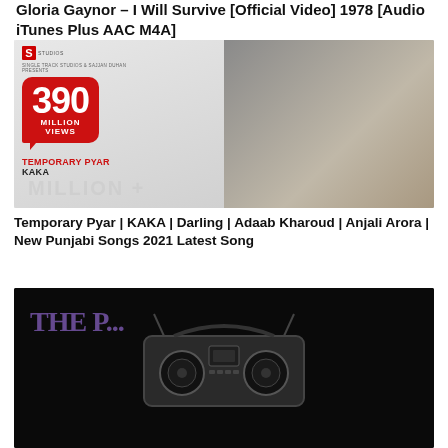Gloria Gaynor - I Will Survive [Official Video] 1978 [Audio iTunes Plus AAC M4A]
[Figure (photo): Thumbnail for Temporary Pyar by KAKA showing 390 Million Views badge with two people lying down, red speech bubble graphic, Studios logo and COIN Digital logo]
Temporary Pyar | KAKA | Darling | Adaab Kharoud | Anjali Arora | New Punjabi Songs 2021 Latest Song
[Figure (photo): Dark thumbnail with boombox silhouette and purple text reading THE P... against black background]